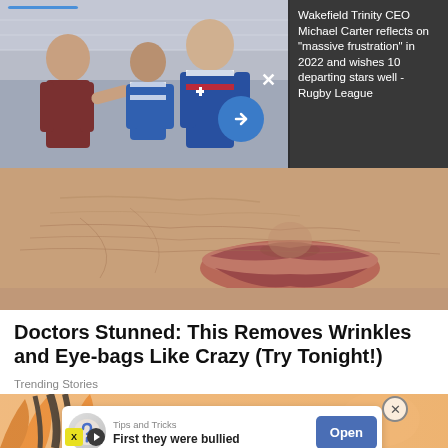[Figure (photo): Rugby players celebrating, one in dark shirt shaking hands/fist-bumping with players in blue and white striped jerseys; stadium stands in background]
Wakefield Trinity CEO Michael Carter reflects on "massive frustration" in 2022 and wishes 10 departing stars well - Rugby League
[Figure (photo): Extreme close-up of elderly person's face showing wrinkles and lips area with skin texture detail]
Doctors Stunned: This Removes Wrinkles and Eye-bags Like Crazy (Try Tonight!)
Trending Stories
[Figure (illustration): Cartoon/comic style illustration of an anime-style girl character with orange and dark hair]
[Figure (screenshot): Advertisement popup: Tips and Tricks — First they were bullied — Open button]